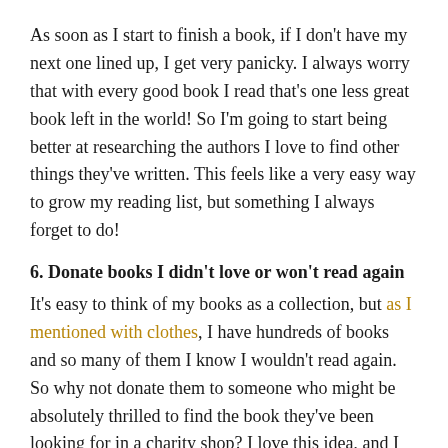As soon as I start to finish a book, if I don't have my next one lined up, I get very panicky. I always worry that with every good book I read that's one less great book left in the world! So I'm going to start being better at researching the authors I love to find other things they've written. This feels like a very easy way to grow my reading list, but something I always forget to do!
6. Donate books I didn't love or won't read again
It's easy to think of my books as a collection, but as I mentioned with clothes, I have hundreds of books and so many of them I know I wouldn't read again. So why not donate them to someone who might be absolutely thrilled to find the book they've been looking for in a charity shop? I love this idea, and I love that it means helping a charity too. I don't need to keep every book I've ever read in my life - I'd rather just keep the ones I love.
7. Pick up a book more than my phone
I've mentioned before that when I'm in Spain, I turn my phone off and put it in a drawer, and spend all the time I'm away reaching for